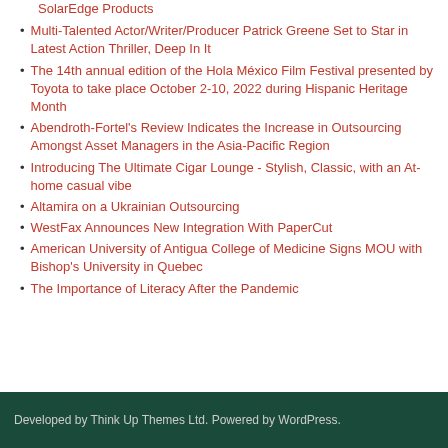SolarEdge Products
Multi-Talented Actor/Writer/Producer Patrick Greene Set to Star in Latest Action Thriller, Deep In It
The 14th annual edition of the Hola México Film Festival presented by Toyota to take place October 2-10, 2022 during Hispanic Heritage Month
Abendroth-Fortel's Review Indicates the Increase in Outsourcing Amongst Asset Managers in the Asia-Pacific Region
Introducing The Ultimate Cigar Lounge - Stylish, Classic, with an At-home casual vibe
Altamira on a Ukrainian Outsourcing
WestFax Announces New Integration With PaperCut
American University of Antigua College of Medicine Signs MOU with Bishop's University in Quebec
The Importance of Literacy After the Pandemic
Developed by Think Up Themes Ltd. Powered by WordPress.